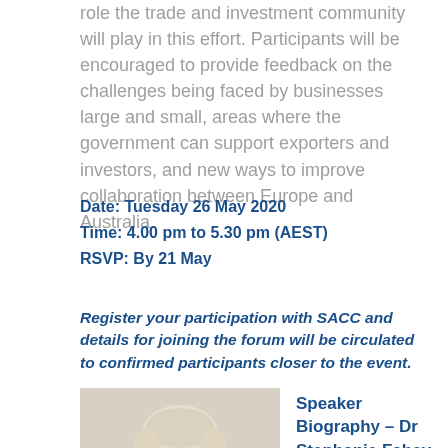role the trade and investment community will play in this effort. Participants will be encouraged to provide feedback on the challenges being faced by businesses large and small, areas where the government can support exporters and investors, and new ways to improve collaboration between Europe and Australia.
Date: Tuesday 26 May 2020
Time: 4.00 pm to 5.30 pm (AEST)
RSVP: By 21 May
Register your participation with SACC and details for joining the forum will be circulated to confirmed participants closer to the event.
Speaker Biography – Dr Stephanie Fahey, CEO, Austrade
[Figure (photo): Portrait photo of a woman with short blonde/white hair]